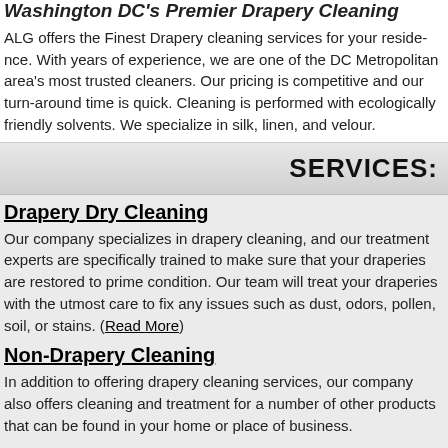Washington DC's Premier Drapery Cleaning
ALG offers the Finest Drapery cleaning services for your residence. With years of experience, we are one of the DC Metropolitan area's most trusted cleaners. Our pricing is competitive and our turn-around time is quick. Cleaning is performed with ecologically friendly solvents. We specialize in silk, linen, and velour.
SERVICES:
Drapery Dry Cleaning
Our company specializes in drapery cleaning, and our treatment experts are specifically trained to make sure that your draperies are restored to prime condition. Our team will treat your draperies with the utmost care to fix any issues such as dust, odors, pollen, soil, or stains. (Read More)
Non-Drapery Cleaning
In addition to offering drapery cleaning services, our company also offers cleaning and treatment for a number of other products that can be found in your home or place of business.